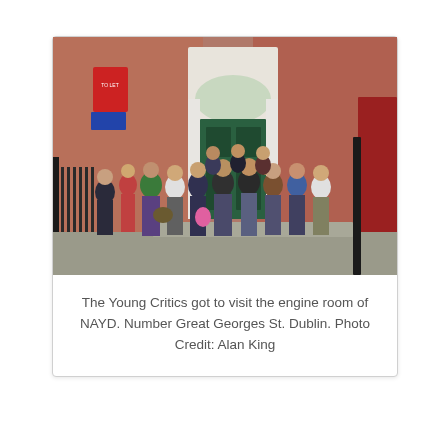[Figure (photo): Group of young people (Young Critics) standing on steps in front of a Georgian-style building with a green door and red brick facade in Dublin. There is a 'To Let' sign visible on the left, iron railings, and a red door on the right side.]
The Young Critics got to visit the engine room of NAYD. Number Great Georges St. Dublin. Photo Credit: Alan King